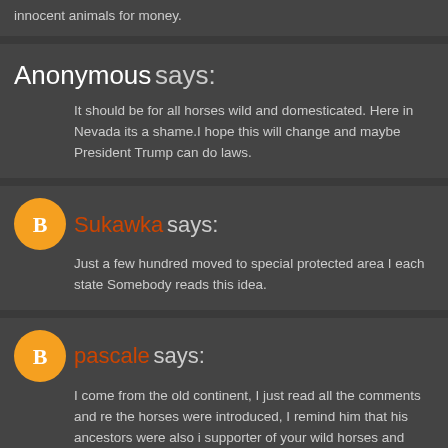innocent animals for money.
Anonymous says:
It should be for all horses wild and domesticated. Here in Nevada its a shame.I hope this will change and maybe President Trump can do laws.
Sukawka says:
Just a few hundred moved to special protected area I each state Somebody reads this idea.
pascale says:
I come from the old continent, I just read all the comments and re the horses were introduced, I remind him that his ancestors were also i supporter of your wild horses and burros, and I applaud the courageous Please, keep your icons alive, protect them! The United States has ofter its expanses and its cultures. Come on, do not you feel that freedom is or feather icons are under threat and I am also worried about the future